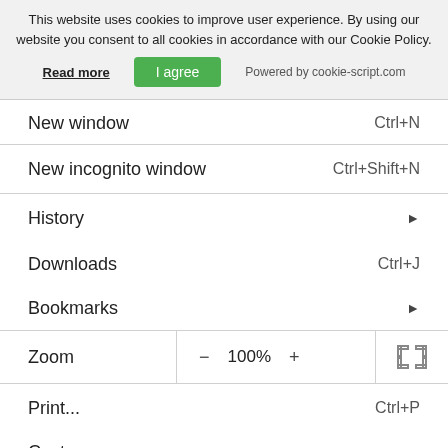This website uses cookies to improve user experience. By using our website you consent to all cookies in accordance with our Cookie Policy.
Read more  |  I agree  |  Powered by cookie-script.com
New window    Ctrl+N
New incognito window    Ctrl+Shift+N
History    ▶
Downloads    Ctrl+J
Bookmarks    ▶
Zoom    −  100%  +  [fullscreen icon]
Print...    Ctrl+P
Cast...
Find...    Ctrl+F
More tools    ▶